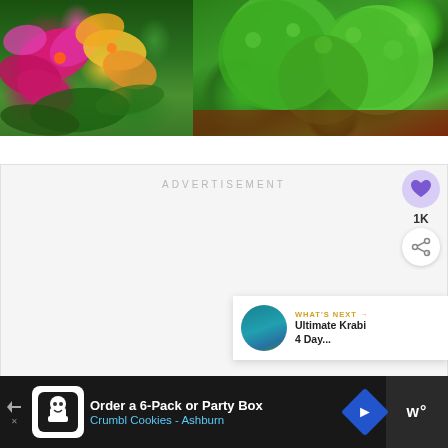[Figure (photo): Photo showing colorful orchid flowers (pink/magenta and yellow) with green leaves on the left, and lush green rounded moss or topiary bushes on the right with reddish-brown soil at the base]
ADVERTISEMENT
[Figure (infographic): UI overlay showing a heart/like button (purple circle with heart icon), a 1K count badge, and a share button (white circle with share icon)]
[Figure (infographic): WHAT'S NEXT card showing a thumbnail of a coastal scene and text 'Ultimate Krabi 4 Day...']
[Figure (infographic): Bottom banner advertisement: 'Order a 6-Pack or Party Box' with 'Crumbl Cookies - Ashburn' in blue text, Crumbl Cookies logo, navigation arrow badge, and a right-side widget showing 'w°']